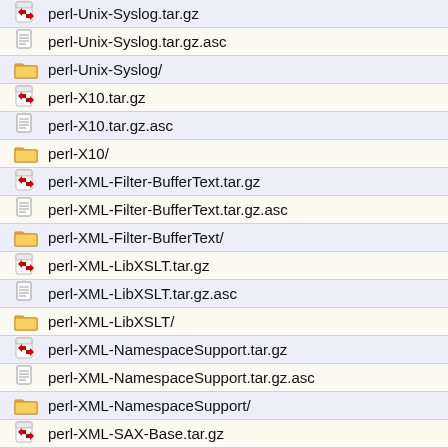perl-Unix-Syslog.tar.gz
perl-Unix-Syslog.tar.gz.asc
perl-Unix-Syslog/
perl-X10.tar.gz
perl-X10.tar.gz.asc
perl-X10/
perl-XML-Filter-BufferText.tar.gz
perl-XML-Filter-BufferText.tar.gz.asc
perl-XML-Filter-BufferText/
perl-XML-LibXSLT.tar.gz
perl-XML-LibXSLT.tar.gz.asc
perl-XML-LibXSLT/
perl-XML-NamespaceSupport.tar.gz
perl-XML-NamespaceSupport.tar.gz.asc
perl-XML-NamespaceSupport/
perl-XML-SAX-Base.tar.gz